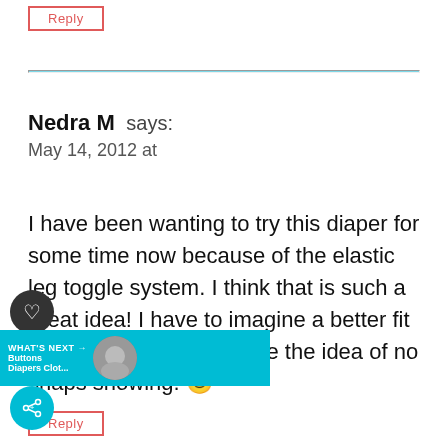Reply
Nedra M says:
May 14, 2012 at
I have been wanting to try this diaper for some time now because of the elastic leg toggle system. I think that is such a great idea! I have to imagine a better fit on my baby girl and I love the idea of no snaps showing. 🙂
Reply